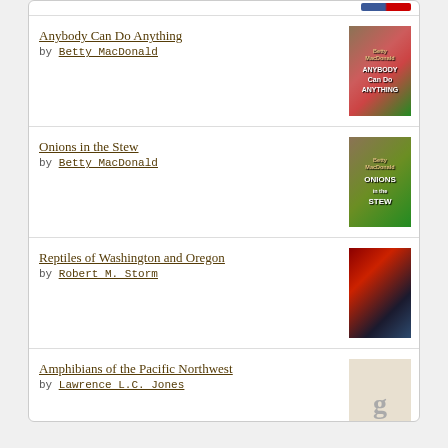Anybody Can Do Anything by Betty MacDonald
Onions in the Stew by Betty MacDonald
Reptiles of Washington and Oregon by Robert M. Storm
Amphibians of the Pacific Northwest by Lawrence L.C. Jones
[Figure (logo): Goodreads logo button with rounded rectangle border]